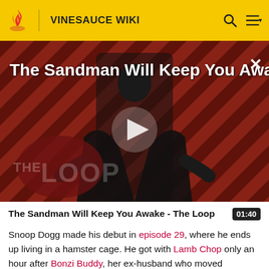VINESAUCE WIKI
[Figure (screenshot): Video thumbnail for 'The Sandman Will Keep You Awake... The Loop' showing a dark-cloaked figure against a red and black diagonal striped background with 'THE LOOP' text overlay and a play button in the center. An X close button appears in the top right corner.]
The Sandman Will Keep You Awake - The Loop  01:40
Snoop Dogg made his debut in episode 29, where he ends up living in a hamster cage. He got with Lamb Chop only an hour after Bonzi Buddy, her ex-husband who moved